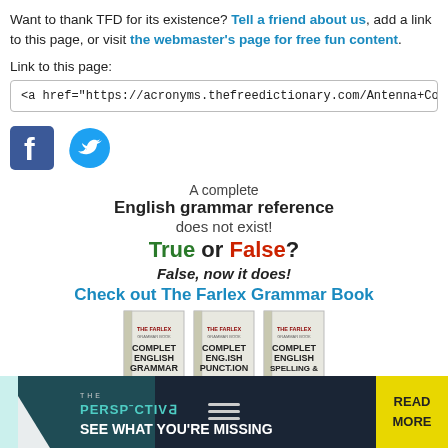Want to thank TFD for its existence? Tell a friend about us, add a link to this page, or visit the webmaster's page for free fun content.
Link to this page:
<a href="https://acronyms.thefreedictionary.com/Antenna+Control+System
[Figure (logo): Facebook and Twitter social media icons]
A complete
English grammar reference
does not exist!
True or False?
False, now it does!
Check out The Farlex Grammar Book
[Figure (photo): Three books: The Farlex Complete English Grammar reference books]
[Figure (infographic): Bottom advertisement banner: THE PERSPECTIVE - SEE WHAT YOU'RE MISSING - READ MORE]